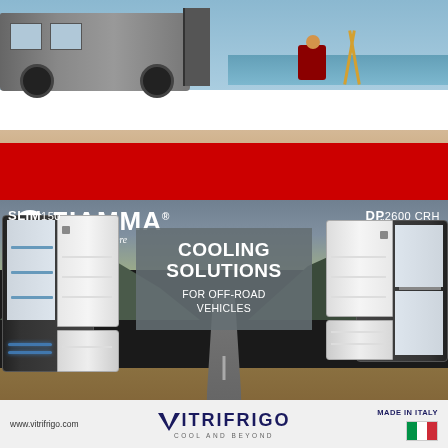[Figure (photo): Fiamma branded advertisement showing a camper van parked on a beach with a red awning/mat, two people relaxing outdoors. Large red Fiamma logo bar at the bottom with tagline 'home is everywhere' and URL fiamma.com]
FIAMMA
home is everywhere
fiamma.com
[Figure (photo): Vitrifrigo cooling solutions advertisement showing two open refrigerators (SLIM150 on left, DP2600 CRH on right) against an off-road landscape background with a road and mountains. Center gray box with text 'COOLING SOLUTIONS FOR OFF-ROAD VEHICLES']
SLIM150
DP2600 CRH
COOLING SOLUTIONS FOR OFF-ROAD VEHICLES
www.vitrifrigo.com
VITRIFRIGO
COOL AND BEYOND
MADE IN ITALY